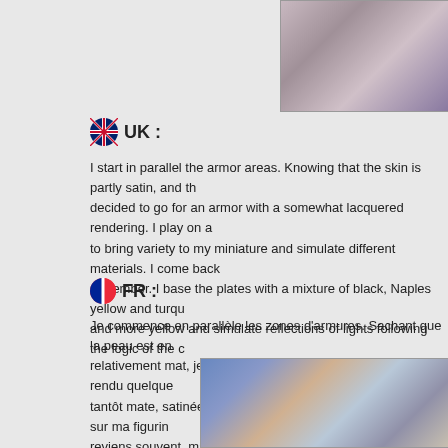[Figure (photo): Close-up photo of a miniature figure or hand holding something wrapped in blue/purple bandage or material]
UK :
I start in parallel the armor areas. Knowing that the skin is partly satin, and th decided to go for an armor with a somewhat lacquered rendering. I play on a to bring variety to my miniature and simulate different materials. I come back remember. I base the plates with a mixture of black, Naples yellow and turqu and more yellow and simulate reflections of lights following the logic of the c
FR :
Je commence en parallèle les zones d'armures. Sachant que la peau est en relativement mat, je me suis décidé pour une armure avec un rendu quelque tantôt mate, satinée, voire brillante pour apporter de la variété sur ma figurin reviens souvent, mais il s'agit d'un point crucial à ne pas oublier.
Je base les plaques avec un mélange de noir, de Jaune de Naples et d'encr rajouter de plus en plus de jaune et simuler des reflets de lumières en suiva d'armure.
[Figure (photo): Photo of a painted miniature figure showing armor with blue and orange colors on rocky base]